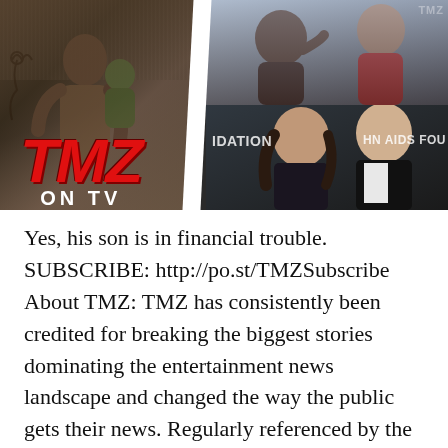[Figure (photo): Composite image of celebrity photos with TMZ ON TV logo overlay. Left panel shows a man holding a child outdoors. Top-right panel shows two men making hand gestures. Bottom-right panel shows a woman and a man at what appears to 'Elton John AIDS Foundation' event. The red TMZ ON TV logo is displayed prominently on the left.]
Yes, his son is in financial trouble. SUBSCRIBE: http://po.st/TMZSubscribe About TMZ: TMZ has consistently been credited for breaking the biggest stories dominating the entertainment news landscape and changed the way the public gets their news. Regularly referenced by the media, TMZ is one of the most cited entertainment news sources in the world. Subscribe to